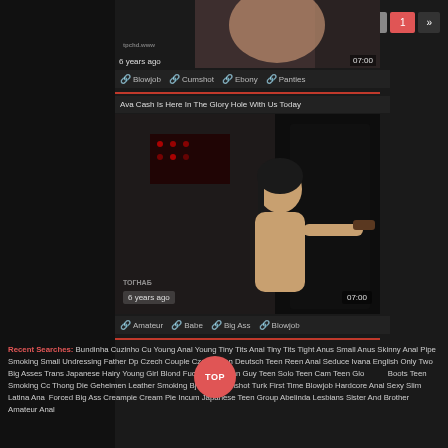[Figure (screenshot): Adult video website screenshot showing video thumbnails, navigation buttons (Popular, Recent, 1, >>), video tags (Blowjob, Cumshot, Ebony, Panties), a second video titled 'Ava Cash Is Here In The Glory Hole With Us Today' with tags (Amateur, Babe, Big Ass, Blowjob), and a recent searches text block.]
Recent Searches: Bundinha Cuzinho Cu Young Anal Young Tiny Tits Anal Tiny Tits Tight Anus Small Anus Skinny Anal Pipe Smoking Small Undressing Father Dp Czech Couple Czech Teen Deutsch Teen Reen Anal Seduce Ivana English Only Two Big Asses Trans Japanese Hairy Young Girl Blond Fucks And Asian Guy Teen Solo Teen Cam Teen Gloryhole Boots Teen Smoking Cc Thong Die Geheimen Leather Smoking Bj Fist Anal Cumshot Turk First Time Blowjob Hardcore Anal Sexy Slim Latina Anal Vintage Forced Big Ass Creampie Cream Pie Incum Japanese Teen Group Abelinda Lesbians Sister And Brother Amateur Anal